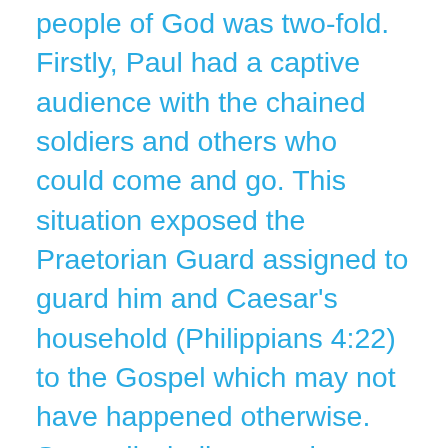people of God was two-fold. Firstly, Paul had a captive audience with the chained soldiers and others who could come and go. This situation exposed the Praetorian Guard assigned to guard him and Caesar’s household (Philippians 4:22) to the Gospel which may not have happened otherwise. Secondly, believers who heard of God’s protection of Paul, Paul’s boldness, and people being saved, were encouraged and emboldened to share the Gospel in the face of difficulty. Paul later said in 2 Timothy 2:8-9, “Remember Jesus Christ, risen from the dead, descendant of